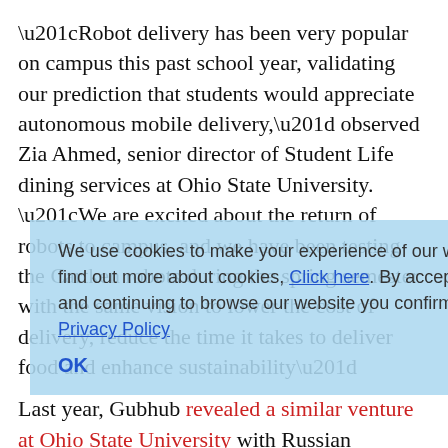“Robot delivery has been very popular on campus this past school year, validating our prediction that students would appreciate autonomous mobile delivery,” observed Zia Ahmed, senior director of Student Life dining services at Ohio State University. “We are excited about the return of robots to campus, and we have been testing the Cartken robots during the spring semester with the same vision to lower the cost of delivery, reduce the time it takes to deliver food and enhance sustainability” Last year, Gubhub revealed a similar venture at Ohio State University with Russian company Yandex; according to a Grubhub spokeswoman, the company subsequently ended its partnership with Yandex to explore U.S.-based providers. Also last year, Kiwibot, a robotic last-mile delivery company, and its foodservice
We use cookies to make your experience of our website better. To find out more about cookies, Click here. By accepting this notice and continuing to browse our website you confirm you accept our Privacy Policy